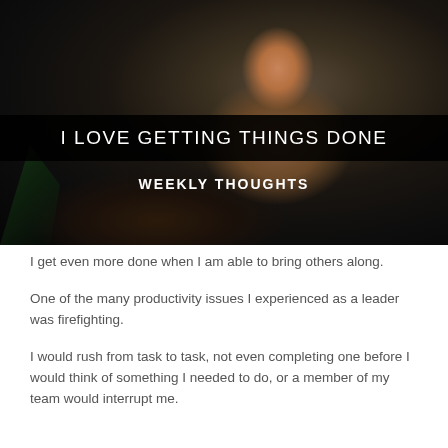[Figure (photo): Woman with glasses smiling, working on a laptop in a dark background setting. Text overlay on image reads 'I LOVE GETTING THINGS DONE' and 'WEEKLY THOUGHTS'.]
I LOVE GETTING THINGS DONE
WEEKLY THOUGHTS
I get even more done when I am able to bring others along.
One of the many productivity issues I experienced as a leader was firefighting.
I would rush from task to task, not even completing one before I would think of something I needed to do, or a member of my team would interrupt me.